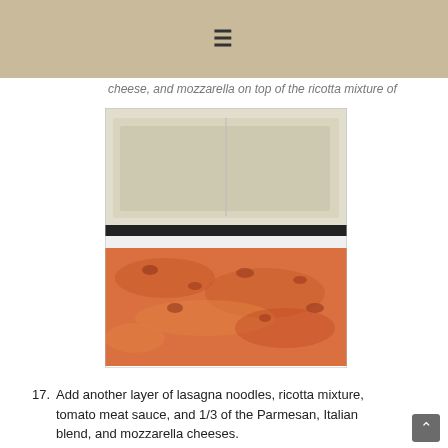≡
cheese, and mozzarella on top of the ricotta mixture of
[Figure (photo): Two-part food photo: top shows a baking pan with white ricotta/cheese layer spread over lasagna; bottom shows a baking dish with orange-red tomato meat sauce with ground meat.]
17. Add another layer of lasagna noodles, ricotta mixture, tomato meat sauce, and 1/3 of the Parmesan, Italian blend, and mozzarella cheeses.
18. The last layer will be the last of the lasagna noodles, ricotta cheese, and tomato meat sauce.
19. Top with the remaining cheeses to evenly cover the tomato meat sauce.